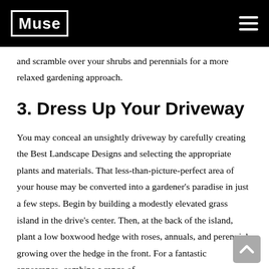Muse Interior
and scramble over your shrubs and perennials for a more relaxed gardening approach.
3. Dress Up Your Driveway
You may conceal an unsightly driveway by carefully creating the Best Landscape Designs and selecting the appropriate plants and materials. That less-than-picture-perfect area of your house may be converted into a gardener’s paradise in just a few steps. Begin by building a modestly elevated grass island in the drive’s center. Then, at the back of the island, plant a low boxwood hedge with roses, annuals, and perennials growing over the hedge in the front. For a fantastic appearance, combine a range of